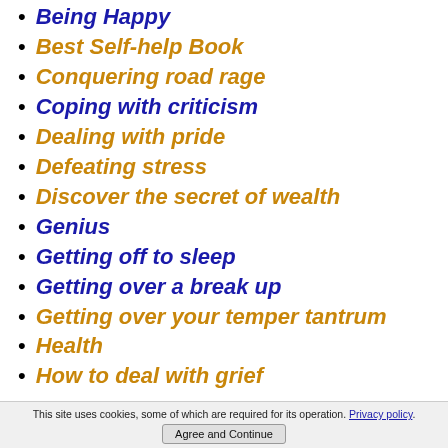Being Happy
Best Self-help Book
Conquering road rage
Coping with criticism
Dealing with pride
Defeating stress
Discover the secret of wealth
Genius
Getting off to sleep
Getting over a break up
Getting over your temper tantrum
Health
How to deal with grief
This site uses cookies, some of which are required for its operation. Privacy policy. Agree and Continue